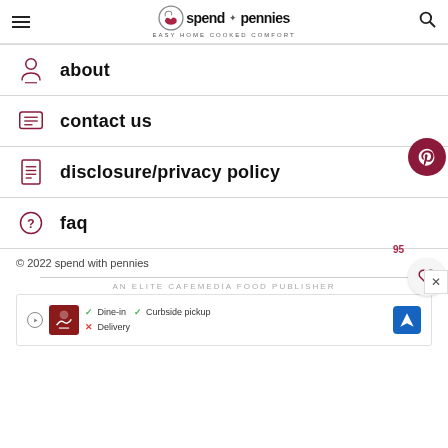spend with pennies — EASY HOME COOKED COMFORT
about
contact us
disclosure/privacy policy
faq
© 2022 spend with pennies
AN ELITE CAFEMEDIA FOOD PUBLISHER
[Figure (screenshot): Advertisement banner: Smoothie King — Dine-in, Curbside pickup, Delivery options with map icon]